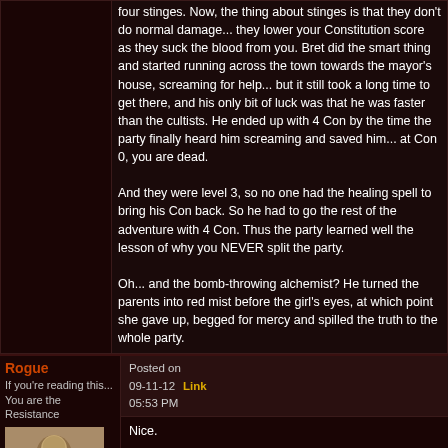four stinges. Now, the thing about stinges is that they don't do normal damage... they lower your Constitution score as they suck the blood from you. Bret did the smart thing and started running across the town towards the mayor's house, screaming for help... but it still took a long time to get there, and his only bit of luck was that he was faster than the cultists. He ended up with 4 Con by the time the party finally heard him screaming and saved him... at Con 0, you are dead.

And they were level 3, so no one had the healing spell to bring his Con back. So he had to go the rest of the adventure with 4 Con. Thus the party learned well the lesson of why you NEVER split the party.

Oh... and the bomb-throwing alchemist? He turned the parents into red mist before the girl's eyes, at which point she gave up, begged for mercy and spilled the truth to the whole party.
Rogue
If you're reading this... You are the Resistance
Level: 195
Posted on
09-11-12   Link
05:53 PM
Nice.

So how's your writing going?